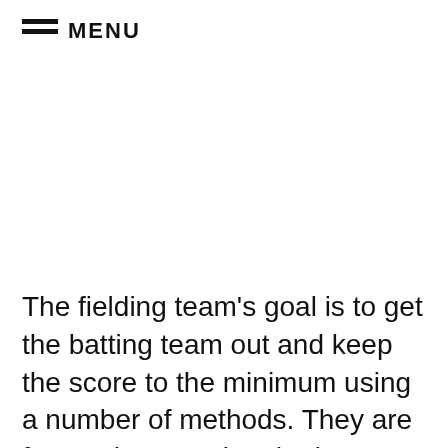MENU
The fielding team's goal is to get the batting team out and keep the score to the minimum using a number of methods. They are focused on running the batsmen out by hitting the stumps with the ball before a